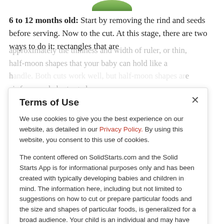[Figure (photo): Small green vegetable/fruit image at top center, partially cropped]
6 to 12 months old: Start by removing the rind and seeds before serving. Now to the cut. At this stage, there are two ways to do it: rectangles that are approximately the thinness and width of ruler, or thin, half-moon shapes that your baby can hold like a handle. Both cuts work well, but half-moon shapes are the way to go at this age. Babies tend to ...
Terms of Use
We use cookies to give you the best experience on our website, as detailed in our Privacy Policy. By using this website, you consent to this use of cookies.
The content offered on SolidStarts.com and the Solid Starts App is for informational purposes only and has been created with typically developing babies and children in mind. The information here, including but not limited to suggestions on how to cut or prepare particular foods and the size and shapes of particular foods, is generalized for a broad audience. Your child is an individual and may have needs or considerations beyond generally accepted practices. If your child has underlying medical or developmental differences, we strongly recommend and encourage you to discuss